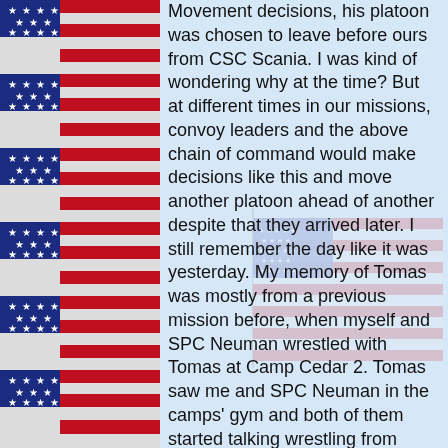[Figure (illustration): Left border decoration with American flag stripes (red and white) and blue field with white stars, repeating vertically. Also a faded watermark American flag in the lower right area.]
Movement decisions, his platoon was chosen to leave before ours from CSC Scania. I was kind of wondering why at the time? But at different times in our missions, convoy leaders and the above chain of command would make decisions like this and move another platoon ahead of another despite that they arrived later. I still remember the day like it was yesterday. My memory of Tomas was mostly from a previous mission before, when myself and SPC Neuman wrestled with Tomas at Camp Cedar 2. Tomas saw me and SPC Neuman in the camps' gym and both of them started talking wrestling from their